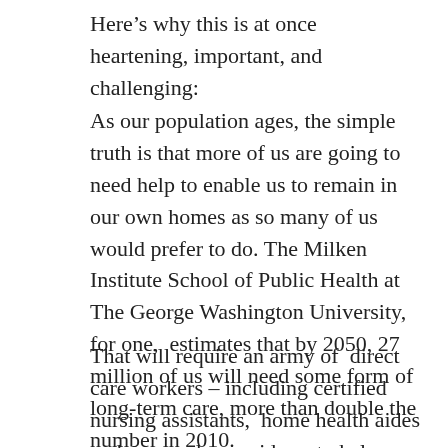Here’s why this is at once heartening, important, and challenging:
As our population ages, the simple truth is that more of us are going to need help to enable us to remain in our own homes as so many of us would prefer to do. The Milken Institute School of Public Health at The George Washington University, for one,  estimates that by 2050, 27 million of us will need some form of long-term care, more than double the number in 2010.
That will require an army of  direct care workers – including certified nursing assistants,  home health aides and personal care aides – to help us with the basics of daily living. Not to mention the importance of keeping a watchful eye on